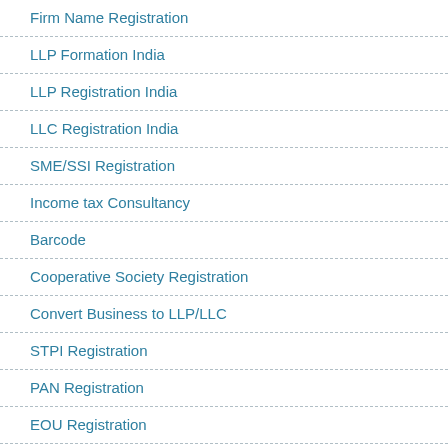Firm Name Registration
LLP Formation India
LLP Registration India
LLC Registration India
SME/SSI Registration
Income tax Consultancy
Barcode
Cooperative Society Registration
Convert Business to LLP/LLC
STPI Registration
PAN Registration
EOU Registration
Web Hosting Services